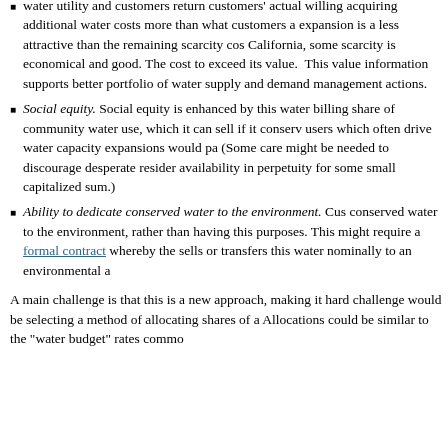acquiring additional water costs more than what customers a expansion is a less attractive than the remaining scarcity cos California, some scarcity is economical and good. The cost to exceed its value. This value information supports better portfolio of water supply and demand management actions.
Social equity. Social equity is enhanced by this water billing share of community water use, which it can sell if it conserv users which often drive water capacity expansions would pa (Some care might be needed to discourage desperate resider availability in perpetuity for some small capitalized sum.)
Ability to dedicate conserved water to the environment. Cus conserved water to the environment, rather than having this purposes. This might require a formal contract whereby the sells or transfers this water nominally to an environmental a
A main challenge is that this is a new approach, making it hard challenge would be selecting a method of allocating shares of a Allocations could be similar to the "water budget" rates commo